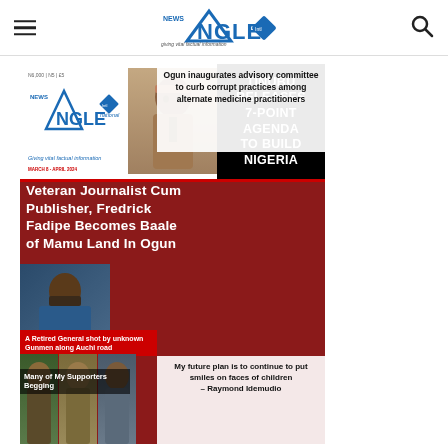News Angle International — navigation bar with hamburger menu and search icon
[Figure (photo): News Angle International magazine cover featuring: logo at top-left, 'TINUBU RELEASES 7-POINT AGENDA TO BUILD NIGERIA' in black box top-right, main headline 'Veteran Journalist Cum Publisher, Fredrick Fadipe Becomes Baale of Mamu Land In Ogun', 'Ogun inaugurates advisory committee to curb corrupt practices among alternate medicine practitioners', 'A Retired General shot by unknown Gunmen along Auchi road', 'My future plan is to continue to put smiles on faces of children – Raymond Idemudio', 'Many of My Supporters Begging' — red and white magazine cover with photos of public figures]